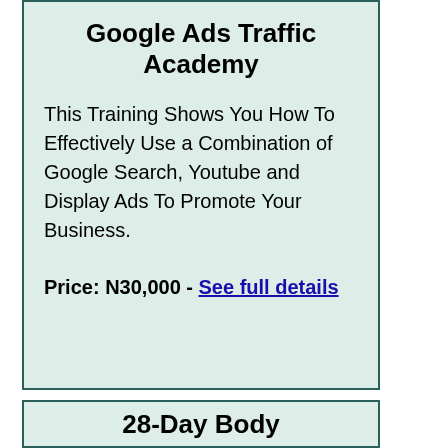Google Ads Traffic Academy
This Training Shows You How To Effectively Use a Combination of Google Search, Youtube and Display Ads To Promote Your Business.
Price: N30,000 - See full details
28-Day Body